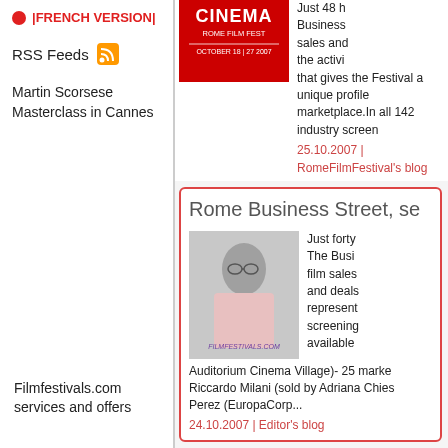|FRENCH VERSION|
RSS Feeds
Martin Scorsese Masterclass in Cannes
Filmfestivals.com services and offers
[Figure (photo): Rome Film Fest October 18-27 2007 logo/banner, red background]
Just 48 h Business sales and the activities that gives the Festival a unique profile marketplace.In all 142 industry screen
25.10.2007 | RomeFilmFestival's blog
Rome Business Street, se
[Figure (photo): Person with glasses and pink clothing, filmfestivals.com watermark]
Just forty The Business film sales and deals represent screening available Auditorium Cinema Village)- 25 marke Riccardo Milani (sold by Adriana Chies Perez (EuropaCorp...
24.10.2007 | Editor's blog
Rome Business Street, se
[Figure (photo): Person with glasses, partial view, filmfestivals.com watermark]
Just forty The Business film sales